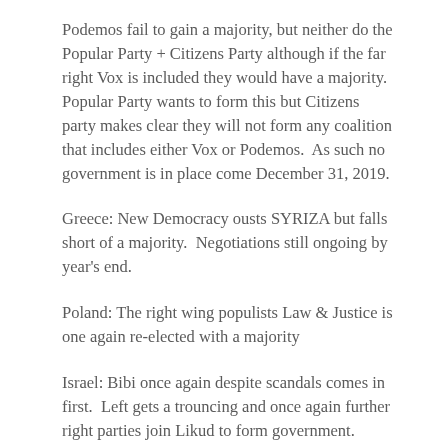Podemos fail to gain a majority, but neither do the Popular Party + Citizens Party although if the far right Vox is included they would have a majority.  Popular Party wants to form this but Citizens party makes clear they will not form any coalition that includes either Vox or Podemos.  As such no government is in place come December 31, 2019.
Greece: New Democracy ousts SYRIZA but falls short of a majority.  Negotiations still ongoing by year's end.
Poland: The right wing populists Law & Justice is one again re-elected with a majority
Israel: Bibi once again despite scandals comes in first.  Left gets a trouncing and once again further right parties join Likud to form government.